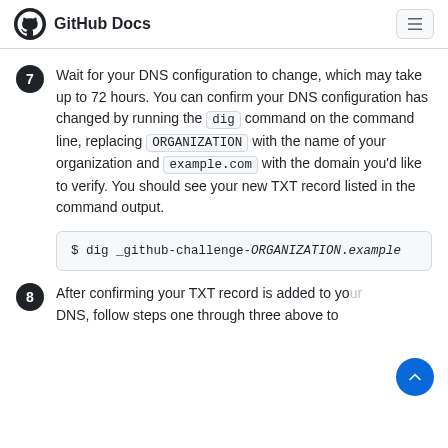GitHub Docs
7. Wait for your DNS configuration to change, which may take up to 72 hours. You can confirm your DNS configuration has changed by running the dig command on the command line, replacing ORGANIZATION with the name of your organization and example.com with the domain you'd like to verify. You should see your new TXT record listed in the command output.
$ dig _github-challenge-ORGANIZATION.example
8. After confirming your TXT record is added to your DNS, follow steps one through three above to